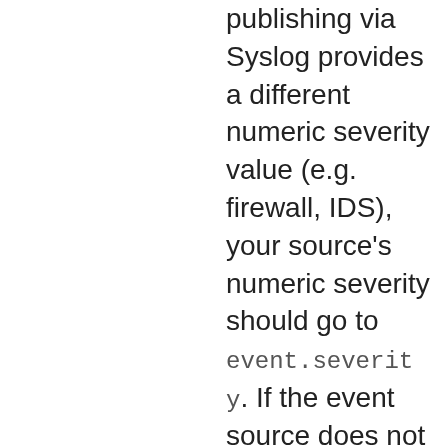publishing via Syslog provides a different numeric severity value (e.g. firewall, IDS), your source's numeric severity should go to event.severity. If the event source does not specify a distinct severity, you can optionally copy the Syslog severity to event.severit